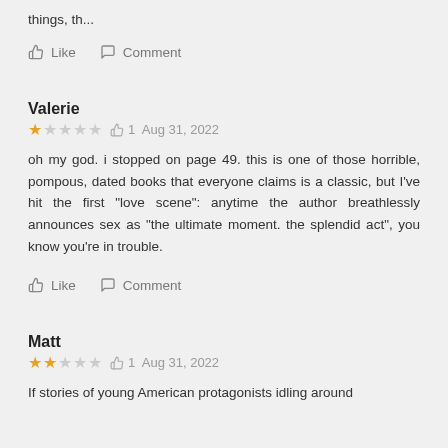things, th...
👍 Like   🗨 Comment
Valerie
★☆☆☆☆  1  Aug 31, 2022
oh my god. i stopped on page 49. this is one of those horrible, pompous, dated books that everyone claims is a classic, but I've hit the first "love scene": anytime the author breathlessly announces sex as "the ultimate moment. the splendid act", you know you're in trouble.
👍 Like   🗨 Comment
Matt
★★☆☆☆  1  Aug 31, 2022
If stories of young American protagonists idling around